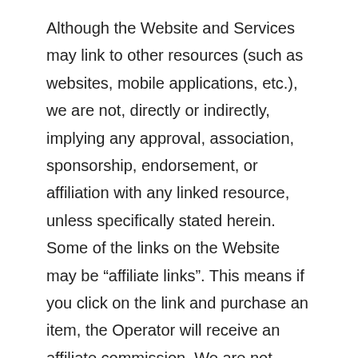Although the Website and Services may link to other resources (such as websites, mobile applications, etc.), we are not, directly or indirectly, implying any approval, association, sponsorship, endorsement, or affiliation with any linked resource, unless specifically stated herein. Some of the links on the Website may be “affiliate links”. This means if you click on the link and purchase an item, the Operator will receive an affiliate commission. We are not responsible for examining or evaluating, and we do not warrant the offerings of, any businesses or individuals or the content of their resources. We do not assume any responsibility or liability for the actions, products, services, and content of any other third parties. You should carefully review